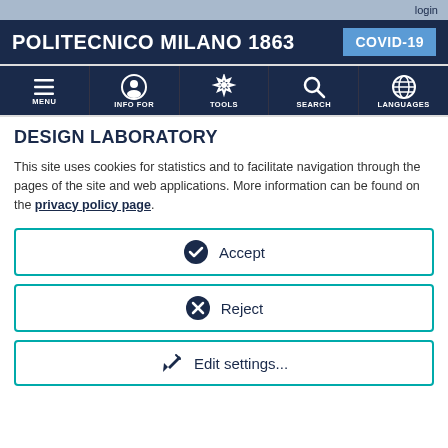login
POLITECNICO MILANO 1863
[Figure (screenshot): Navigation bar with icons: MENU (hamburger), INFO FOR (person), TOOLS (gear), SEARCH (magnifier), LANGUAGES (globe)]
DESIGN LABORATORY
This site uses cookies for statistics and to facilitate navigation through the pages of the site and web applications. More information can be found on the privacy policy page.
Accept
Reject
Edit settings...